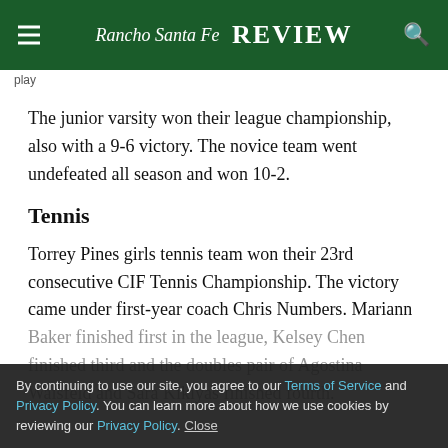Rancho Santa Fe Review
play
The junior varsity won their league championship, also with a 9-6 victory. The novice team went undefeated all season and won 10-2.
Tennis
Torrey Pines girls tennis team won their 23rd consecutive CIF Tennis Championship. The victory came under first-year coach Chris Numbers. Mariann Baker finished first in the league, Kelsey Chen finished third and the doubles pair of Agostina Waisfeld and Sara Kikiyas finished fourth.
By continuing to use our site, you agree to our Terms of Service and Privacy Policy. You can learn more about how we use cookies by reviewing our Privacy Policy. Close